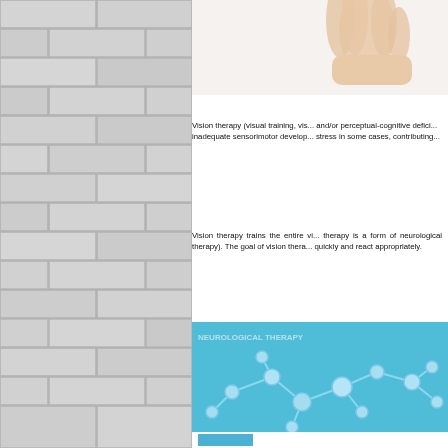[Figure (photo): Brick wall texture on the left side of the page]
[Figure (photo): Close-up of a hand (fingers) against white background, partially visible at the top right]
Vision therapy (visual training, vis... and/or perceptual-cognitive defici... inadequate sensorimotor develop... stress in some cases, contributing...
Vision therapy trains the entire vi... therapy is a form of neurological... therapy). The goal of vision thera... quickly and react appropriately.
[Figure (photo): Blue background with 3D molecular/network structure illustration and partial text overlay]